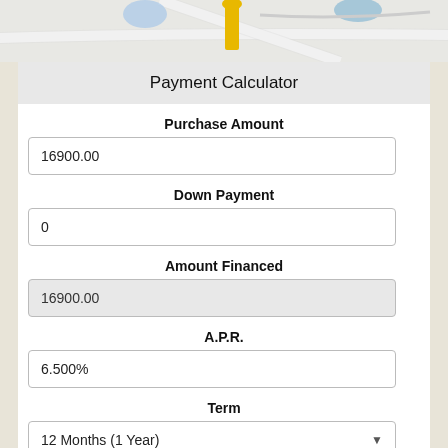[Figure (map): Partial map view showing roads and location markers]
Payment Calculator
Purchase Amount
16900.00
Down Payment
0
Amount Financed
16900.00
A.P.R.
6.500%
Term
12 Months (1 Year)
Estimated Monthly Payment: